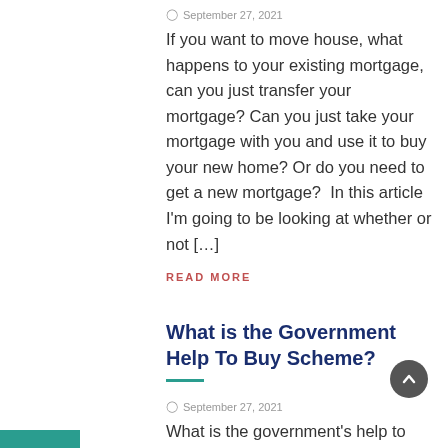September 27, 2021
If you want to move house, what happens to your existing mortgage, can you just transfer your mortgage? Can you just take your mortgage with you and use it to buy your new home? Or do you need to get a new mortgage? In this article I'm going to be looking at whether or not […]
READ MORE
What is the Government Help To Buy Scheme?
September 27, 2021
What is the government's help to buy scheme? How can it help first time buyers? Our Homebuyers guide will walk you through the HTB process